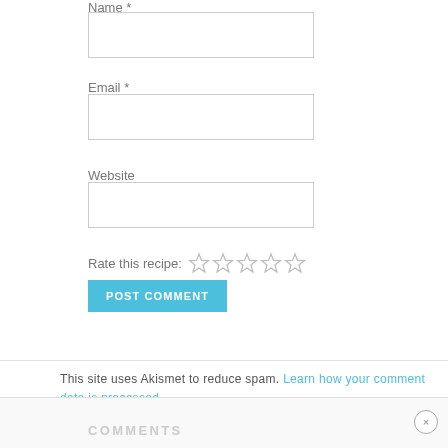Name *
[Figure (screenshot): Empty text input field for Name]
Email *
[Figure (screenshot): Empty text input field for Email]
Website
[Figure (screenshot): Empty text input field for Website]
Rate this recipe: ☆ ☆ ☆ ☆ ☆
[Figure (screenshot): POST COMMENT button in blue]
This site uses Akismet to reduce spam. Learn how your comment data is processed.
COMMENTS